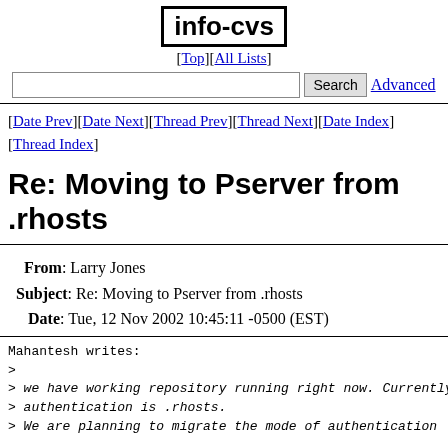info-cvs
[Top][All Lists]
[Date Prev][Date Next][Thread Prev][Thread Next][Date Index][Thread Index]
Re: Moving to Pserver from .rhosts
From: Larry Jones
Subject: Re: Moving to Pserver from .rhosts
Date: Tue, 12 Nov 2002 10:45:11 -0500 (EST)
Mahantesh writes:
>
> we have working repository running right now. Currently authentication is .rhosts.
> We are planning to migrate the mode of authentication
Why?  :ext: is generally consider superior to :pserver:, when used with ssh rather than rsh.
> My question is, whether it is enough just deleting .rho